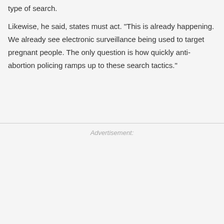type of search.
Likewise, he said, states must act. "This is already happening. We already see electronic surveillance being used to target pregnant people. The only question is how quickly anti-abortion policing ramps up to these search tactics."
Advertisement: